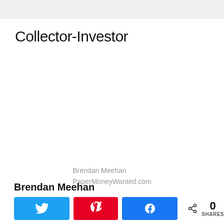Collector-Investor
Brendan Meehan
PaperMoneyWanted.com
Brendan Meehan